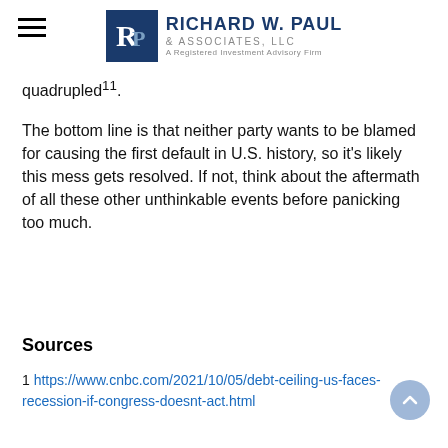Richard W. Paul & Associates, LLC — A Registered Investment Advisory Firm
quadrupled¹¹.
The bottom line is that neither party wants to be blamed for causing the first default in U.S. history, so it's likely this mess gets resolved. If not, think about the aftermath of all these other unthinkable events before panicking too much.
Sources
1 https://www.cnbc.com/2021/10/05/debt-ceiling-us-faces-recession-if-congress-doesnt-act.html